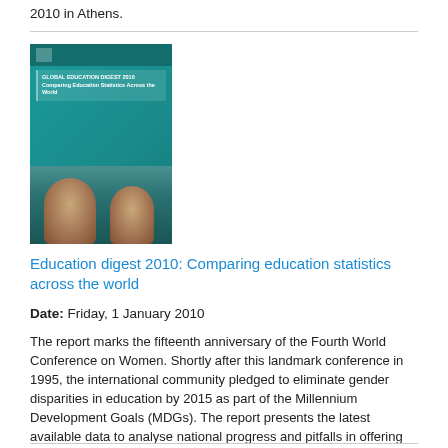2010 in Athens.
[Figure (photo): Book cover of Education digest 2010: Comparing education statistics across the world. Teal/green cover with children's faces photo at bottom.]
Education digest 2010: Comparing education statistics across the world
Date: Friday, 1 January 2010
The report marks the fifteenth anniversary of the Fourth World Conference on Women. Shortly after this landmark conference in 1995, the international community pledged to eliminate gender disparities in education by 2015 as part of the Millennium Development Goals (MDGs). The report presents the latest available data to analyse national progress and pitfalls in offering every child and young person equal access to education regardless of their sex.